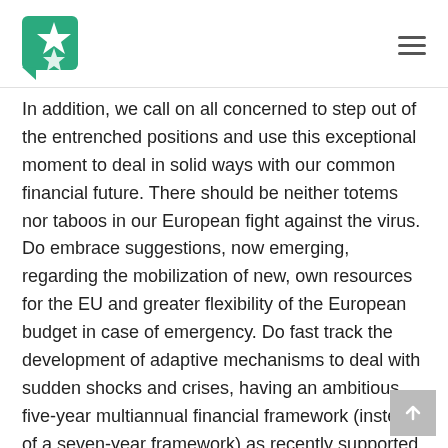In addition, we call on all concerned to step out of the entrenched positions and use this exceptional moment to deal in solid ways with our common financial future. There should be neither totems nor taboos in our European fight against the virus. Do embrace suggestions, now emerging, regarding the mobilization of new, own resources for the EU and greater flexibility of the European budget in case of emergency. Do fast track the development of adaptive mechanisms to deal with sudden shocks and crises, having an ambitious five-year multiannual financial framework (instead of a seven-year framework) as recently supported by the European Parliament and more in line with principles of democratic accountability.
Along the same lines and within the MFF, EU